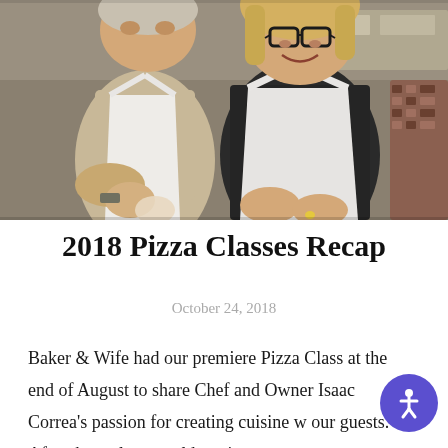[Figure (photo): Photo of two people in white aprons in a kitchen setting, smiling and working with dough. A woman with glasses and blonde hair is in the center, a man is to the left, and another person is partially visible on the right.]
2018 Pizza Classes Recap
October 24, 2018
Baker & Wife had our premiere Pizza Class at the end of August to share Chef and Owner Isaac Correa's passion for creating cuisine w our guests. After three classes sold out in a